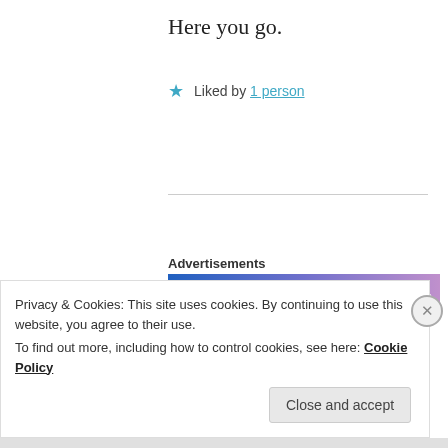Here you go.
★ Liked by 1 person
Advertisements
[Figure (other): WordPress.com advertisement banner with blue-to-purple gradient showing text 'Simplified pricing for' and WordPress logo]
NARAYAN KAUDINYA
December 26, 2020 at 7:12 pm
Privacy & Cookies: This site uses cookies. By continuing to use this website, you agree to their use.
To find out more, including how to control cookies, see here: Cookie Policy
Close and accept